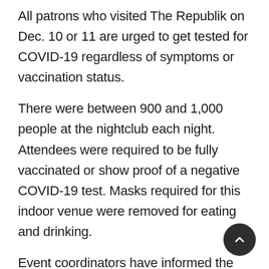All patrons who visited The Republik on Dec. 10 or 11 are urged to get tested for COVID-19 regardless of symptoms or vaccination status.
There were between 900 and 1,000 people at the nightclub each night. Attendees were required to be fully vaccinated or show proof of a negative COVID-19 test. Masks required for this indoor venue were removed for eating and drinking.
Event coordinators have informed the attendees of potential infection by email. DOH thanked management at The Republik for assisting with the ongoing investigation.
Anyone with COVID-19 symptoms, even mild